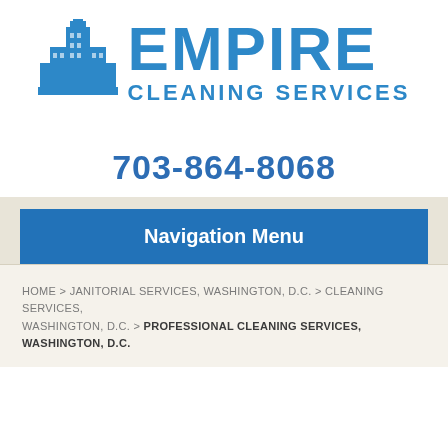[Figure (logo): Empire Cleaning Services logo with blue building/skyscraper icon on the left and text 'EMPIRE CLEANING SERVICES' in blue to the right]
703-864-8068
Navigation Menu
HOME > JANITORIAL SERVICES, WASHINGTON, D.C. > CLEANING SERVICES, WASHINGTON, D.C. > PROFESSIONAL CLEANING SERVICES, WASHINGTON, D.C.